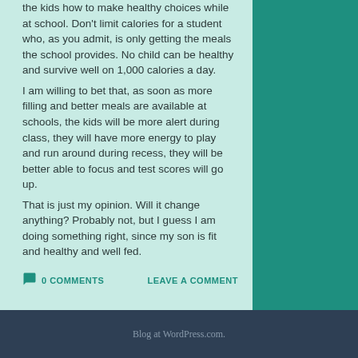the kids how to make healthy choices while at school. Don't limit calories for a student who, as you admit, is only getting the meals the school provides. No child can be healthy and survive well on 1,000 calories a day. I am willing to bet that, as soon as more filling and better meals are available at schools, the kids will be more alert during class, they will have more energy to play and run around during recess, they will be better able to focus and test scores will go up. That is just my opinion. Will it change anything? Probably not, but I guess I am doing something right, since my son is fit and healthy and well fed.
0 COMMENTS
LEAVE A COMMENT
Blog at WordPress.com.